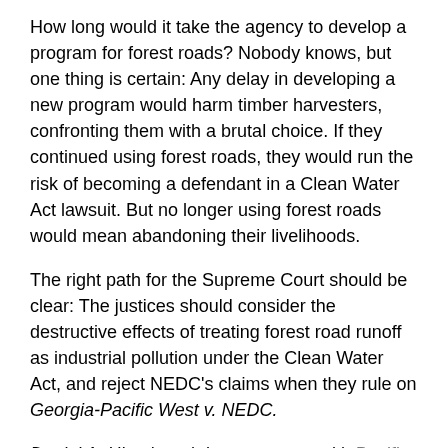How long would it take the agency to develop a program for forest roads? Nobody knows, but one thing is certain: Any delay in developing a new program would harm timber harvesters, confronting them with a brutal choice. If they continued using forest roads, they would run the risk of becoming a defendant in a Clean Water Act lawsuit. But no longer using forest roads would mean abandoning their livelihoods.
The right path for the Supreme Court should be clear: The justices should consider the destructive effects of treating forest road runoff as industrial pollution under the Clean Water Act, and reject NEDC's claims when they rule on Georgia-Pacific West v. NEDC.
Daniel A. Himebaugh is an attorney with Pacific Legal Foundation in Bellevue, Washington. He represented over a dozen timber industry, conservation, and educational organizations in filing a friend-of-the-court brief urging the U.S. Supreme Court to reverse the 9th Circuit's decision in the